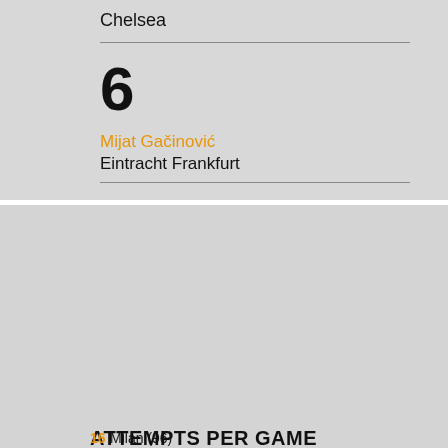Chelsea
6
Mijat Gačinović
Eintracht Frankfurt
ATTEMPTS PER GAME
17.8 Salzburg (Total 178)
17.5 Leipzig (105)
16.88 Leverkusen (135)
16.36 Chelsea (229)
16 Milan (96)